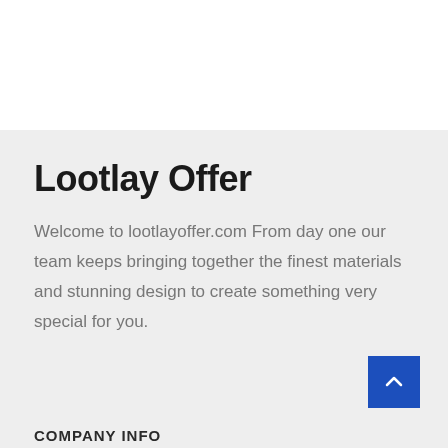Lootlay Offer
Welcome to lootlayoffer.com From day one our team keeps bringing together the finest materials and stunning design to create something very special for you.
COMPANY INFO